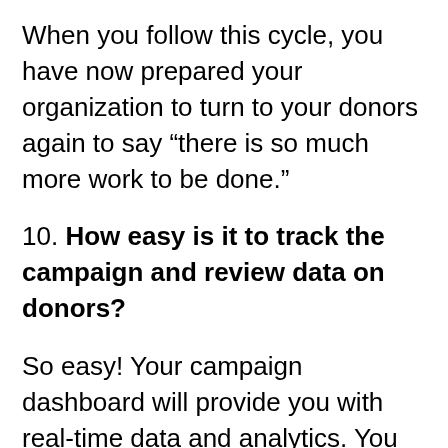When you follow this cycle, you have now prepared your organization to turn to your donors again to say “there is so much more work to be done.”
10. How easy is it to track the campaign and review data on donors?
So easy! Your campaign dashboard will provide you with real-time data and analytics. You will see who is giving, how much they gave, and how they reached your campaign page.